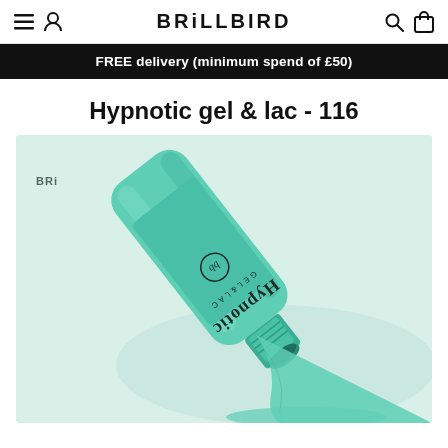BRiLLBIRD
FREE delivery (minimum spend of £50)
Hypnotic gel & lac - 116
[Figure (photo): Close-up photo of a mint/teal coloured Hypnotic Gel & Lac nail polish bottle (number 116) lying on its side with the cap removed and mint coloured gel polish dripping/pouring out onto a white surface.]